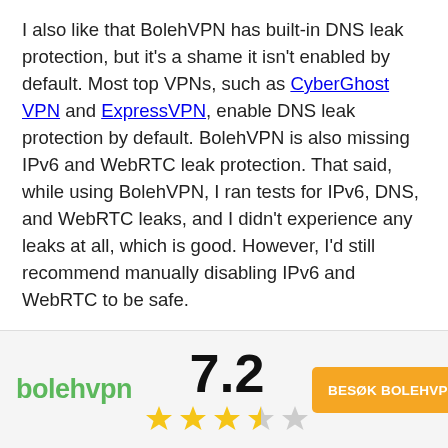I also like that BolehVPN has built-in DNS leak protection, but it's a shame it isn't enabled by default. Most top VPNs, such as CyberGhost VPN and ExpressVPN, enable DNS leak protection by default. BolehVPN is also missing IPv6 and WebRTC leak protection. That said, while using BolehVPN, I ran tests for IPv6, DNS, and WebRTC leaks, and I didn't experience any leaks at all, which is good. However, I'd still recommend manually disabling IPv6 and WebRTC to be safe.

You can use The Onion Router (Tor) on all of BolehVPN's servers for an extra layer of security. Simply connect to any of BolehVPN's
[Figure (infographic): BolehVPN footer bar with green logo on left, score 7.2 with 3.5 stars in center, and orange 'BESØK BOLEHVPN' button on right]